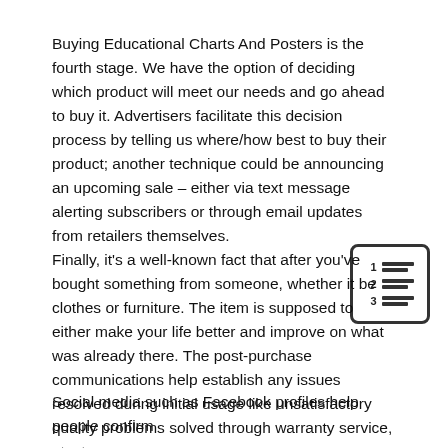Buying Educational Charts And Posters is the fourth stage. We have the option of deciding which product will meet our needs and go ahead to buy it. Advertisers facilitate this decision process by telling us where/how best to buy their product; another technique could be announcing an upcoming sale – either via text message alerting subscribers or through email updates from retailers themselves.
[Figure (illustration): A numbered list icon with three rows, each row showing a number (1, 2, 3) followed by horizontal lines, enclosed in a rounded rectangle border.]
Finally, it's a well-known fact that after you've bought something from someone, whether it be clothes or furniture. The item is supposed to either make your life better and improve on what was already there. The post-purchase communications help establish any issues resolved during initial usage like unsatisfactory quality problems solved through warranty service, etcetera.
Social media such as Facebook profiles help people confirm